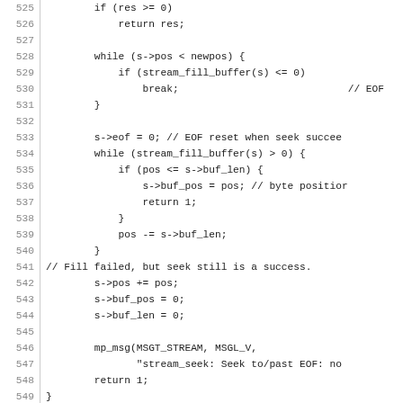Source code listing lines 525-554, C programming language, stream seek function implementation